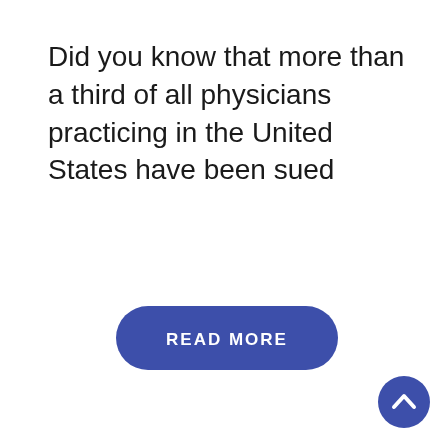Did you know that more than a third of all physicians practicing in the United States have been sued
[Figure (other): Blue rounded button with text READ MORE]
[Figure (other): Blue circular scroll-to-top button with upward chevron arrow in bottom-right corner]